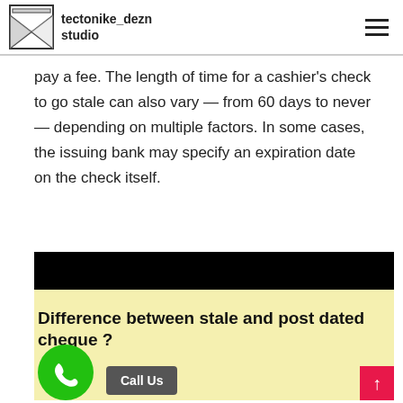tectonike_dezn studio
pay a fee. The length of time for a cashier's check to go stale can also vary — from 60 days to never — depending on multiple factors. In some cases, the issuing bank may specify an expiration date on the check itself.
[Figure (other): Yellow background banner with bold text reading 'Difference between stale and post dated cheque ?' overlaid on a black top bar, with a green phone call button and a grey 'Call Us' button at the bottom.]